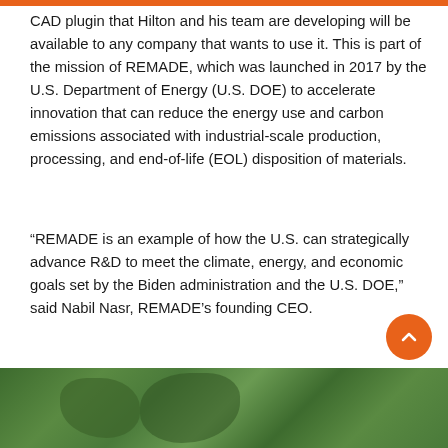CAD plugin that Hilton and his team are developing will be available to any company that wants to use it. This is part of the mission of REMADE, which was launched in 2017 by the U.S. Department of Energy (U.S. DOE) to accelerate innovation that can reduce the energy use and carbon emissions associated with industrial-scale production, processing, and end-of-life (EOL) disposition of materials.
“REMADE is an example of how the U.S. can strategically advance R&D to meet the climate, energy, and economic goals set by the Biden administration and the U.S. DOE,” said Nabil Nasr, REMADE’s founding CEO.
[Figure (photo): Outdoor photo showing green tree foliage, bottom strip of the page]